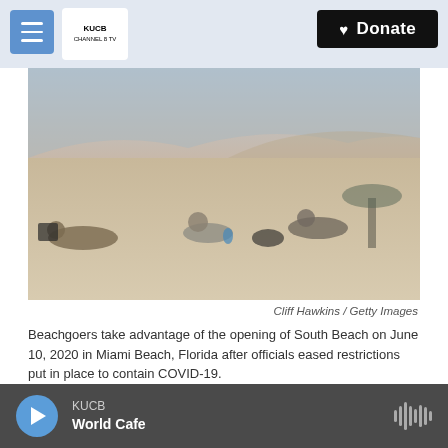KUCB Channel 8 TV — Donate
[Figure (photo): Beach scene with people relaxing on sand at South Beach, Miami Beach, Florida]
Cliff Hawkins / Getty Images
Beachgoers take advantage of the opening of South Beach on June 10, 2020 in Miami Beach, Florida after officials eased restrictions put in place to contain COVID-19.
As it struggles to control a rising number of new cases of the coronavirus, Florida took a dramatic step, suspending the consumption of alcohol on the premises at bars statewide. Officials in Texas took
KUCB — World Cafe